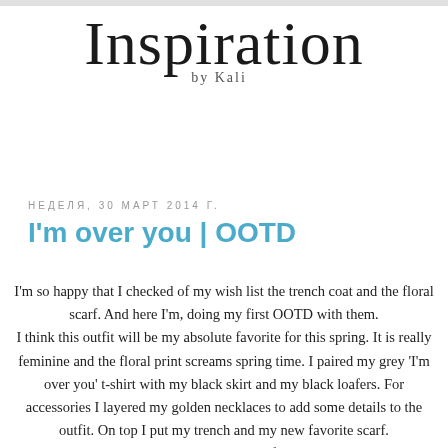Inspiration by Kali
неделя, 30 март 2014 г.
I'm over you | OOTD
I'm so happy that I checked of my wish list the trench coat and the floral scarf. And here I'm, doing my first OOTD with them.
I think this outfit will be my absolute favorite for this spring. It is really feminine and the floral print screams spring time. I paired my grey 'I'm over you' t-shirt with my black skirt and my black loafers. For accessories I layered my golden necklaces to add some details to the outfit. On top I put my trench and my new favorite scarf.
I can say that this combo is very comfortable and cute and